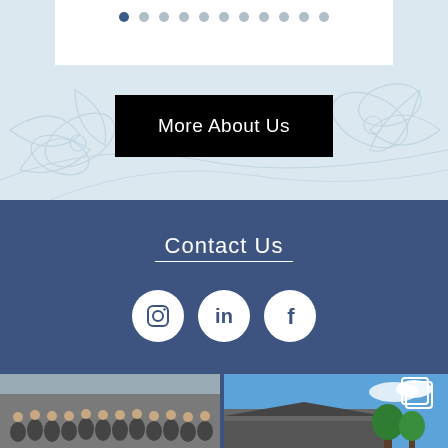[Figure (screenshot): Pagination dots row — one filled blue dot and ten grey dots on white background over light blue floral background]
More About Us
Contact Us
[Figure (infographic): Three social media icons in white circles on dark blue background: Instagram, LinkedIn, Facebook]
[Figure (photo): Group photo of people standing in front of a building]
[Figure (photo): Exterior photo of a building with blue sky and trees]